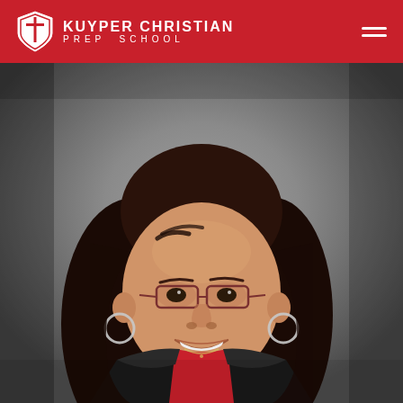KUYPER CHRISTIAN PREP SCHOOL
[Figure (photo): Professional headshot photo of a woman with long dark hair, wearing glasses, hoop earrings, a black jacket over a red top, smiling at the camera against a grey studio background.]